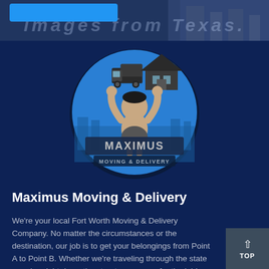[Figure (screenshot): Top banner with faded city aerial photo background and partial text 'Images from Texas.' with a blue button overlay]
[Figure (logo): Maximus Moving & Delivery circular logo featuring a cartoon strongman holding a moving truck and house above his head, with 'MAXIMUS MOVING & DELIVERY' text on a blue circular background]
Maximus Moving & Delivery
We're your local Fort Worth Moving & Delivery Company. No matter the circumstances or the destination, our job is to get your belongings from Point A to Point B. Whether we're traveling through the state or going right down the street, we are up for the job! Take a breath, relax, we got it!